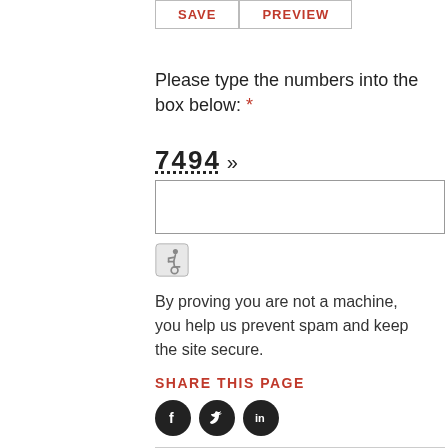[Figure (screenshot): SAVE and PREVIEW buttons at the top]
Please type the numbers into the box below: *
7494 »
[Figure (other): Empty text input box for CAPTCHA entry]
[Figure (other): Accessibility icon (wheelchair symbol)]
By proving you are not a machine, you help us prevent spam and keep the site secure.
SHARE THIS PAGE
[Figure (other): Social media icons: Facebook, Twitter, LinkedIn]